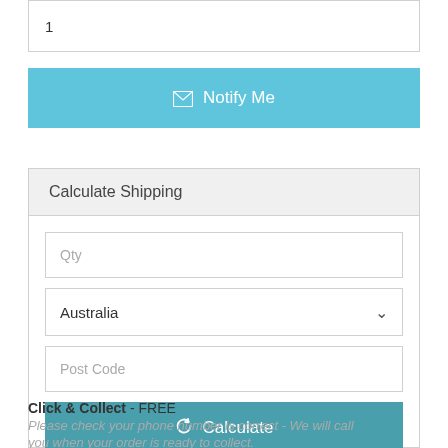1
✉ Notify Me
Calculate Shipping
Qty
Australia
Post Code
🔄 Calculate
Click & Collect - FREE
Please check your phone number is correct - We will call you when your order is ready to collect.